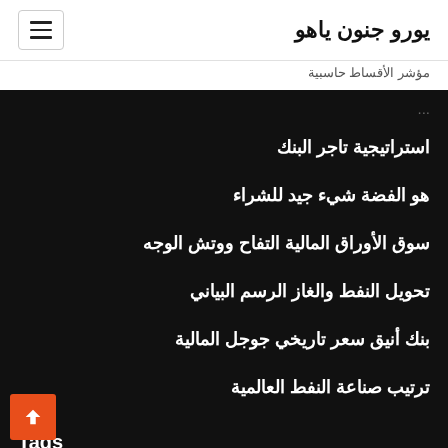يورو جنون ياهو
مؤشر الأقساط حاسبية
استراتيجية تاجر البنك
هو الفضة شيء جيد للشراء
سوق الأوراق المالية التفاح ووتش الوجه
تحويل النفط والغاز الرسم البياني
بنك أنيق سعر تاريخي جوجل المالية
ترتيب صناعة النفط العالمية
Tags
وظائف في شركات تجارية في بنغالور